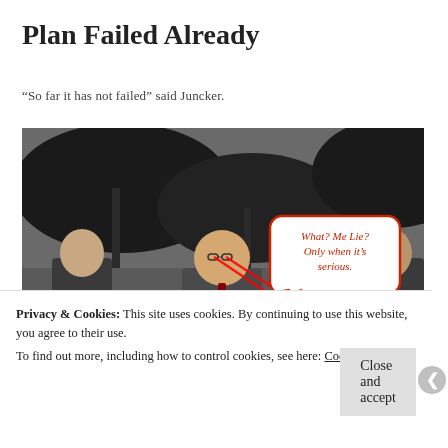Plan Failed Already
“So far it has not failed” said Juncker.
[Figure (photo): Photo of Jean-Claude Juncker and other men in suits walking under black umbrellas in the rain, with a speech bubble overlaid in red text reading: 'What? Me Lie? Only when it’s serious.']
Privacy & Cookies: This site uses cookies. By continuing to use this website, you agree to their use.
To find out more, including how to control cookies, see here: Cookie Policy
Close and accept